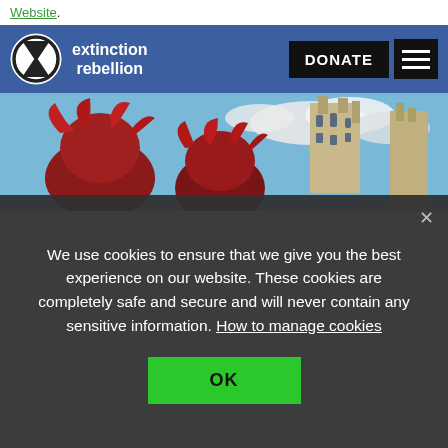Website.
[Figure (logo): Extinction Rebellion logo with hourglass circle icon and text 'extinction rebellion' on blue navigation bar, with DONATE button and hamburger menu]
[Figure (photo): Two people in red costumes in front of a gothic-style building tower against a blue sky with clouds]
We use cookies to ensure that we give you the best experience on our website. These cookies are completely safe and secure and will never contain any sensitive information. How to manage cookies
OK